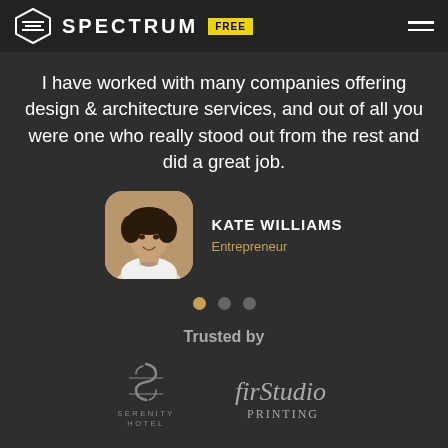SPECTRUM FREE
I have worked with many companies offering design & architecture services, and out of all you were one who really stood out from the rest and did a great job.
[Figure (photo): Portrait photo of Kate Williams, a woman with curly hair, smiling, in a rounded-corner square frame]
KATE WILLIAMS
Entrepreneur
Trusted by
[Figure (logo): Serenity Hotel logo with stylized S]
[Figure (logo): firStudio Printing logo in italic serif font]